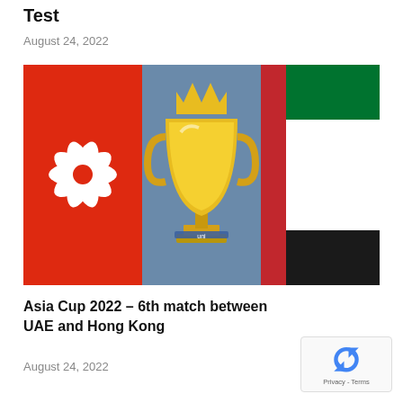Test
August 24, 2022
[Figure (photo): Hong Kong flag on the left (red background with white bauhinia flower), a gold trophy in the center, and UAE flag on the right (green, white, black horizontal stripes with red vertical stripe). Asia Cup 2022 match image.]
Asia Cup 2022 – 6th match between UAE and Hong Kong
August 24, 2022